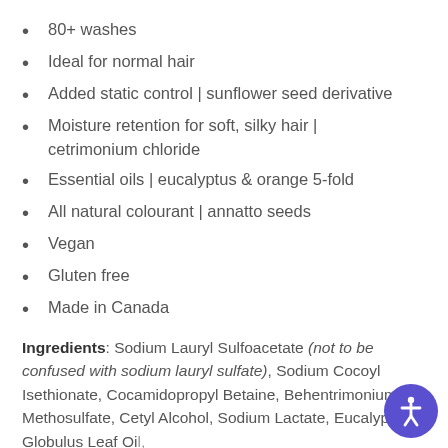80+ washes
Ideal for normal hair
Added static control | sunflower seed derivative
Moisture retention for soft, silky hair | cetrimonium chloride
Essential oils | eucalyptus & orange 5-fold
All natural colourant | annatto seeds
Vegan
Gluten free
Made in Canada
Ingredients: Sodium Lauryl Sulfoacetate (not to be confused with sodium lauryl sulfate), Sodium Cocoyl Isethionate, Cocamidopropyl Betaine, Behentrimonium Methosulfate, Cetyl Alcohol, Sodium Lactate, Eucalyptus Globulus Leaf Oil, Citrus Sinensis Undeleted Di...